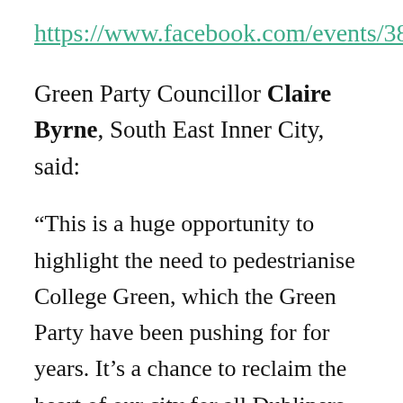https://www.facebook.com/events/387508892115917/
Green Party Councillor Claire Byrne, South East Inner City, said:
“This is a huge opportunity to highlight the need to pedestrianise College Green, which the Green Party have been pushing for for years. It’s a chance to reclaim the heart of our city for all Dubliners. Our city centre should be a clean, walkable, friendly space. It should